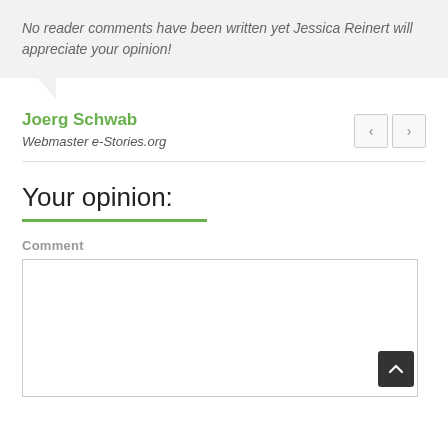No reader comments have been written yet Jessica Reinert will appreciate your opinion!
Joerg Schwab
Webmaster e-Stories.org
Your opinion:
Comment